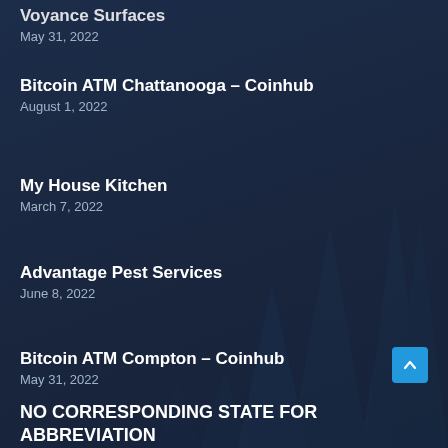Voyance Surfaces
May 31, 2022
Bitcoin ATM Chattanooga – Coinhub
August 1, 2022
My House Kitchen
March 7, 2022
Advantage Pest Services
June 8, 2022
Bitcoin ATM Compton – Coinhub
May 31, 2022
NO CORRESPONDING STATE FOR ABBREVIATION